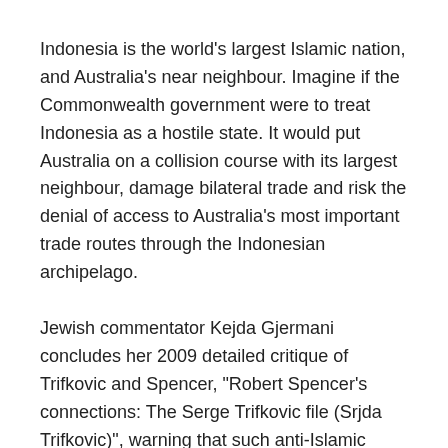Indonesia is the world's largest Islamic nation, and Australia's near neighbour. Imagine if the Commonwealth government were to treat Indonesia as a hostile state. It would put Australia on a collision course with its largest neighbour, damage bilateral trade and risk the denial of access to Australia's most important trade routes through the Indonesian archipelago.
Jewish commentator Kejda Gjermani concludes her 2009 detailed critique of Trifkovic and Spencer, "Robert Spencer's connections: The Serge Trifkovic file (Srjda Trifkovic)", warning that such anti-Islamic agitators make it easy for radical Islamists and their apologists to discredit and attack genuine